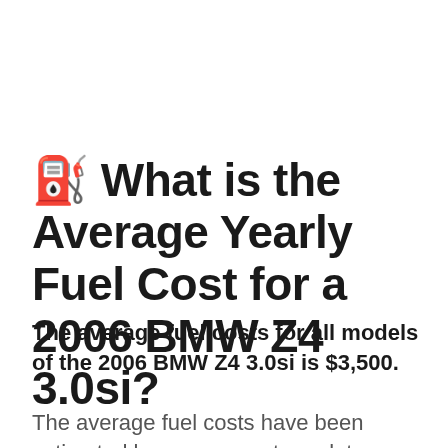⛽ What is the Average Yearly Fuel Cost for a 2006 BMW Z4 3.0si?
The average fuel costs for all models of the 2006 BMW Z4 3.0si is $3,500.
The average fuel costs have been estimated by government regulators